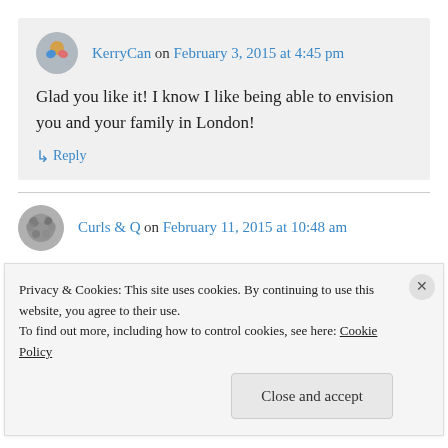KerryCan on February 3, 2015 at 4:45 pm
Glad you like it! I know I like being able to envision you and your family in London!
↳ Reply
Curls & Q on February 11, 2015 at 10:48 am
Q – Love this post! It touches on so many of our
Privacy & Cookies: This site uses cookies. By continuing to use this website, you agree to their use.
To find out more, including how to control cookies, see here: Cookie Policy
Close and accept